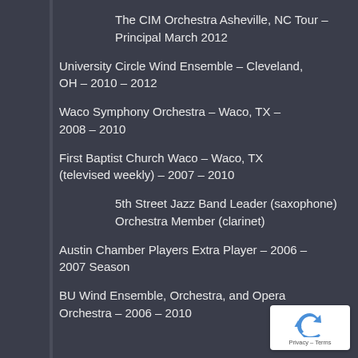The CIM Orchestra Asheville, NC Tour – Principal March 2012
University Circle Wind Ensemble – Cleveland, OH – 2010 – 2012
Waco Symphony Orchestra – Waco, TX – 2008 – 2010
First Baptist Church Waco – Waco, TX (televised weekly) – 2007 – 2010
5th Street Jazz Band Leader (saxophone)
Orchestra Member (clarinet)
Austin Chamber Players Extra Player – 2006 – 2007 Season
BU Wind Ensemble, Orchestra, and Opera Orchestra – 2006 – 2010